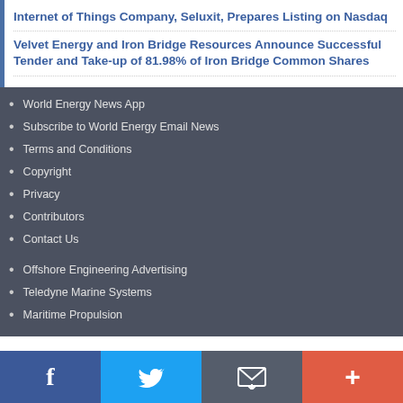Internet of Things Company, Seluxit, Prepares Listing on Nasdaq
Velvet Energy and Iron Bridge Resources Announce Successful Tender and Take-up of 81.98% of Iron Bridge Common Shares
World Energy News App
Subscribe to World Energy Email News
Terms and Conditions
Copyright
Privacy
Contributors
Contact Us
Offshore Engineering Advertising
Teledyne Marine Systems
Maritime Propulsion
Facebook | Twitter | Email | +